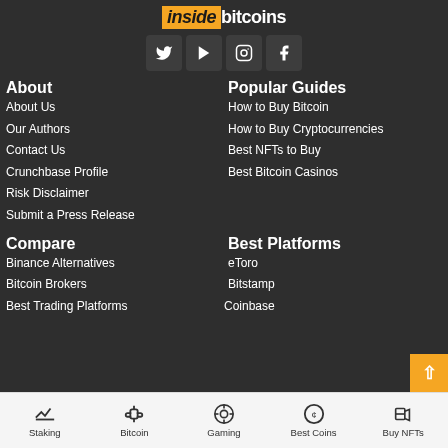inside bitcoins
[Figure (infographic): Social media icons row: Twitter, YouTube, Instagram, Facebook]
About
About Us
Our Authors
Contact Us
Crunchbase Profile
Risk Disclaimer
Submit a Press Release
Popular Guides
How to Buy Bitcoin
How to Buy Cryptocurrencies
Best NFTs to Buy
Best Bitcoin Casinos
Compare
Binance Alternatives
Bitcoin Brokers
Best Trading Platforms
Best Platforms
eToro
Bitstamp
Coinbase
Staking | Bitcoin | Gaming | Best Coins | Buy NFTs